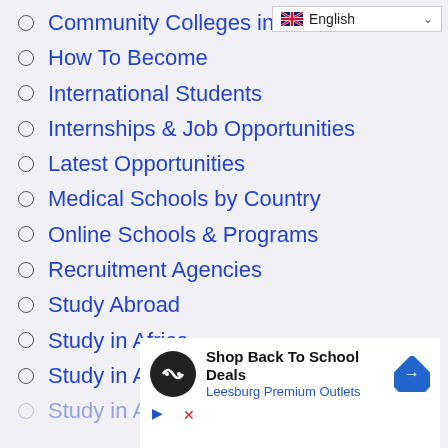Community Colleges in Unit…
How To Become
International Students
Internships & Job Opportunities
Latest Opportunities
Medical Schools by Country
Online Schools & Programs
Recruitment Agencies
Study Abroad
Study in Africa
Study in Asia
Study in Australia…
[Figure (screenshot): Ad banner: Shop Back To School Deals - Leesburg Premium Outlets with logo and arrow icon]